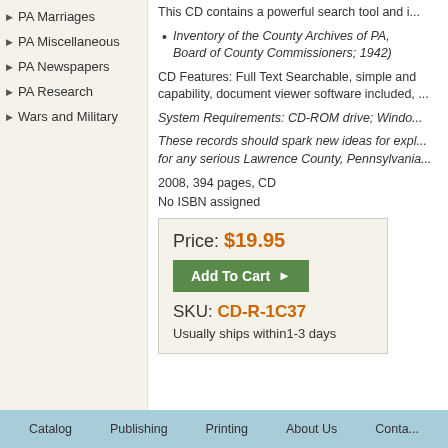PA Marriages
PA Miscellaneous
PA Newspapers
PA Research
Wars and Military
This CD contains a powerful search tool and i...
Inventory of the County Archives of PA, ... Board of County Commissioners; 1942)
CD Features: Full Text Searchable, simple and ... capability, document viewer software included, ...
System Requirements: CD-ROM drive; Windo...
These records should spark new ideas for explo... for any serious Lawrence County, Pennsylvania...
2008, 394 pages, CD
No ISBN assigned
Price: $19.95
Add To Cart
SKU: CD-R-1C37
Usually ships within1-3 days
Catalog   Publishing   Printing   About Us   Conta...